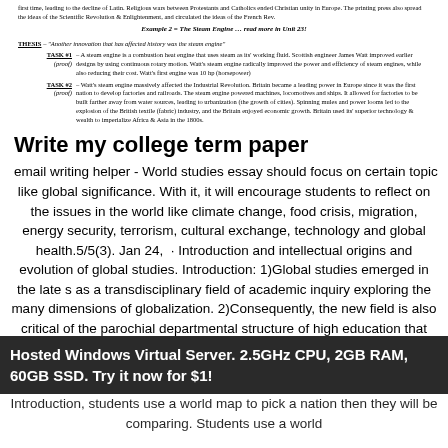first time, leading to the decline of Latin. Religious wars between Protestants and Catholics ended Christian unity in Europe. The printing press also spread the ideas of the Scientific Revolution & Enlightenment, and circulated the ideas of the French Rev.
Example 2 = The Steam Engine ... read more in Unit 23!
THESIS – "Another innovation that has affected history was the steam engine"
TASK #1 (proof) – A steam engine is a combustion heat engine that uses steam as its' working fluid. Scottish engineer James Watt improved earlier designs by using continuous rotary motion. Watt's steam engine radically improved the power and efficiency of steam engines, while also reducing their cost. Watt's first engine was 10 hp (horsepower)
TASK #2 (proof) – Watt's steam engine massively affected the Industrial Revolution. Britain became a leading power in Europe since it was the first nation to develop factories and railroads. The steam engine powered machines, locomotives and ships. It allowed for factories to be built farther away from water sources, leading to urbanization (the growth of cities). Spinning mules and power looms led to the explosion of the British textile (fabric) industry, and the Britain enjoyed economic growth. Britain used its' superior technology & wealth to imperialize Africa & Asia in the 1800s.
Write my college term paper
email writing helper - World studies essay should focus on certain topic like global significance. With it, it will encourage students to reflect on the issues in the world like climate change, food crisis, migration, energy security, terrorism, cultural exchange, technology and global health.5/5(3). Jan 24,  · Introduction and intellectual origins and evolution of global studies. Introduction: 1)Global studies emerged in the late s as a transdisciplinary field of academic inquiry exploring the many dimensions of globalization. 2)Consequently, the new field is also critical of the parochial departmental structure of high education that operates. Global
Hosted Windows Virtual Server. 2.5GHz CPU, 2GB RAM, 60GB SSD. Try it now for $1!
Introduction, students use a world map to pick a nation then they will be comparing. Students use a world